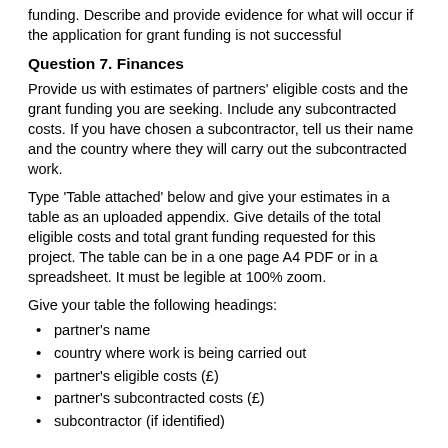funding. Describe and provide evidence for what will occur if the application for grant funding is not successful
Question 7. Finances
Provide us with estimates of partners' eligible costs and the grant funding you are seeking. Include any subcontracted costs. If you have chosen a subcontractor, tell us their name and the country where they will carry out the subcontracted work.
Type 'Table attached' below and give your estimates in a table as an uploaded appendix. Give details of the total eligible costs and total grant funding requested for this project. The table can be in a one page A4 PDF or in a spreadsheet. It must be legible at 100% zoom.
Give your table the following headings:
partner's name
country where work is being carried out
partner's eligible costs (£)
partner's subcontracted costs (£)
subcontractor (if identified)